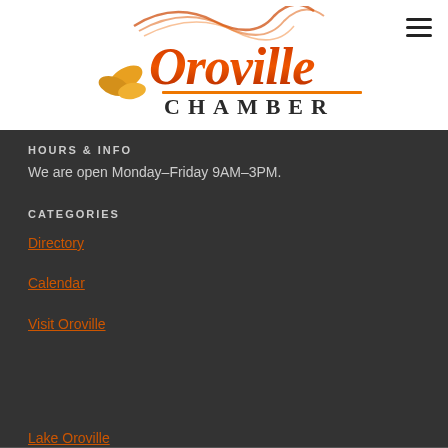[Figure (logo): Oroville Chamber logo with stylized orange/red script 'Oroville' text and decorative flower, with 'CHAMBER' in dark serif caps below]
HOURS & INFO
We are open Monday–Friday 9AM–3PM.
CATEGORIES
Directory
Calendar
Visit Oroville
Lake Oroville